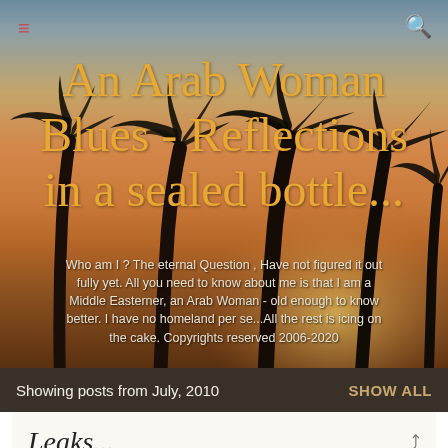≡  🔍
An Arab Woman Blues - Reflections in a sealed bottle...
Who am I ? The eternal Question , Have not figured it out fully yet. All you need to know about me is that I am a Middle Easterner, an Arab Woman - old enough to know better. I have no homeland per se...All the rest is icing on the cake. Copyrights reserved 2006-2020
Showing posts from July, 2010   SHOW ALL
Leaks...
July 27, 2010